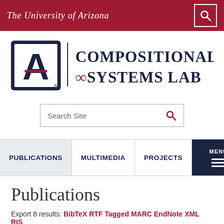The University of Arizona
[Figure (logo): University of Arizona 'A' logo with Compositional Systems Lab wordmark]
Search Site
PUBLICATIONS  MULTIMEDIA  PROJECTS  MENU
Publications
Export 8 results: BibTeX RTF Tagged MARC EndNote XML RIS